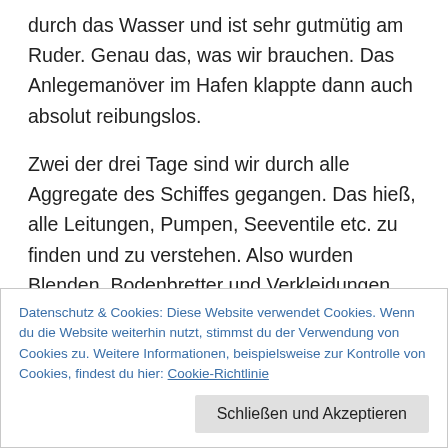durch das Wasser und ist sehr gutmütig am Ruder. Genau das, was wir brauchen. Das Anlegemanöver im Hafen klappte dann auch absolut reibungslos.
Zwei der drei Tage sind wir durch alle Aggregate des Schiffes gegangen. Das hieß, alle Leitungen, Pumpen, Seeventile etc. zu finden und zu verstehen. Also wurden Blenden, Bodenbretter und Verkleidungen gelöst und Schaltpläne und Übersichtszeichnungen gewälzt, um alles im Detail und im Zusammenhang zu sehen. Lediglich die Elektrik wurde noch ausgespart, da diese wohl mit Litium-
Datenschutz & Cookies: Diese Website verwendet Cookies. Wenn du die Website weiterhin nutzt, stimmst du der Verwendung von Cookies zu. Weitere Informationen, beispielsweise zur Kontrolle von Cookies, findest du hier: Cookie-Richtlinie